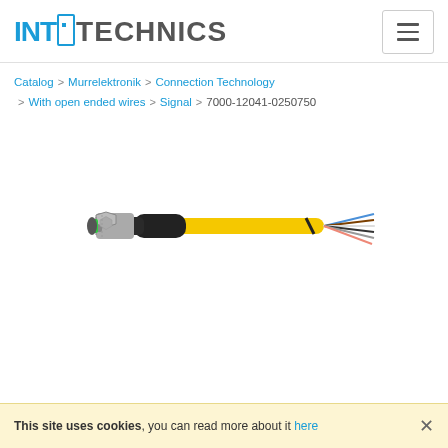INT-TECHNICS
Catalog > Murrelektronik > Connection Technology > With open ended wires > Signal > 7000-12041-0250750
[Figure (photo): M12 connector with yellow cable assembly and open ended wires (product 7000-12041-0250750 by Murrelektronik). Shows a metal M12 male connector with black overmold body attached to a yellow cable that fans out into multiple colored wires at the open end.]
This site uses cookies, you can read more about it here